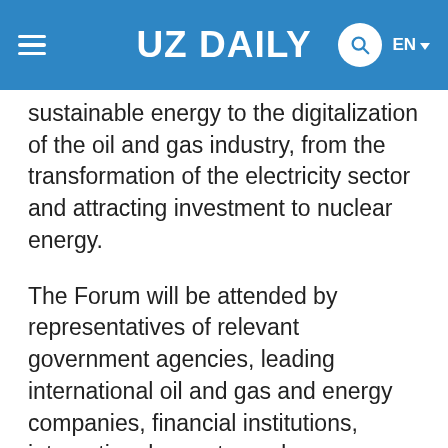UZ DAILY  EN
sustainable energy to the digitalization of the oil and gas industry, from the transformation of the electricity sector and attracting investment to nuclear energy.
The Forum will be attended by representatives of relevant government agencies, leading international oil and gas and energy companies, financial institutions, international experts, and representatives of the research sector.